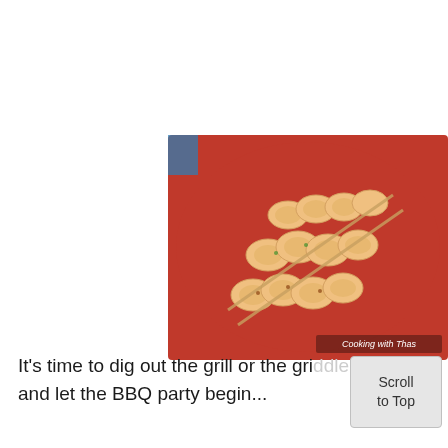[Figure (photo): Grilled shrimp skewers arranged on a red plate, seasoned with spices and herbs. A watermark reads 'Cooking with Thas' in the lower right corner of the photo.]
It's time to dig out the grill or the griddle and let the BBQ party begin...